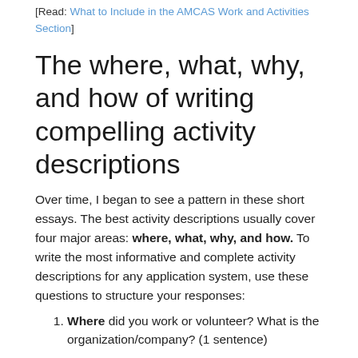[Read: What to Include in the AMCAS Work and Activities Section]
The where, what, why, and how of writing compelling activity descriptions
Over time, I began to see a pattern in these short essays. The best activity descriptions usually cover four major areas: where, what, why, and how. To write the most informative and complete activity descriptions for any application system, use these questions to structure your responses:
Where did you work or volunteer? What is the organization/company? (1 sentence)